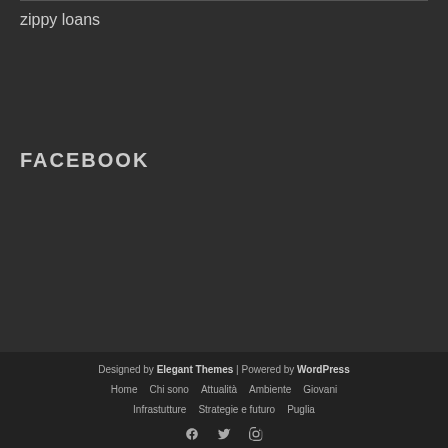zippy loans
FACEBOOK
Designed by Elegant Themes | Powered by WordPress
Home  Chi sono  Attualità  Ambiente  Giovani
Infrastutture  Strategie e futuro  Puglia